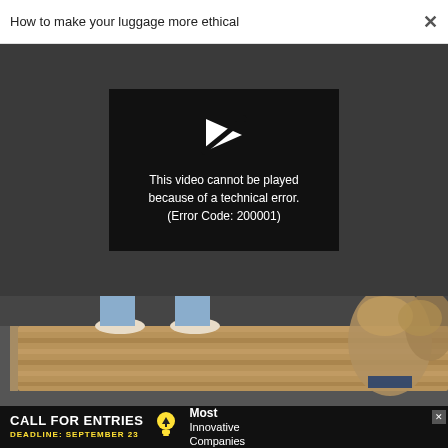How to make your luggage more ethical ×
[Figure (screenshot): Video player showing error: black rectangle with broken play icon and text 'This video cannot be played because of a technical error. (Error Code: 200001)' on dark gray background]
[Figure (photo): Photo of a person standing on a woven/striped jute rug in espadrille shoes with a small dog (Yorkie) on the right side, dark floor]
[Figure (infographic): Advertisement banner: 'CALL FOR ENTRIES DEADLINE: SEPTEMBER 23' with lightbulb icon and 'Most Innovative Companies' text on black background]